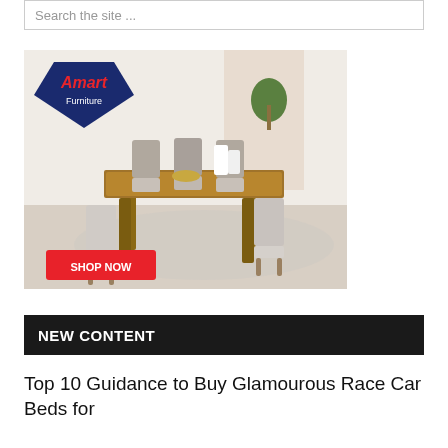Search the site ...
[Figure (photo): Amart Furniture advertisement showing a wooden dining table with grey upholstered chairs in a bright room setting. A red 'SHOP NOW' button is shown at the bottom left. The Amart Furniture logo with a navy blue pentagon shape is in the top left corner.]
NEW CONTENT
Top 10 Guidance to Buy Glamourous Race Car Beds for